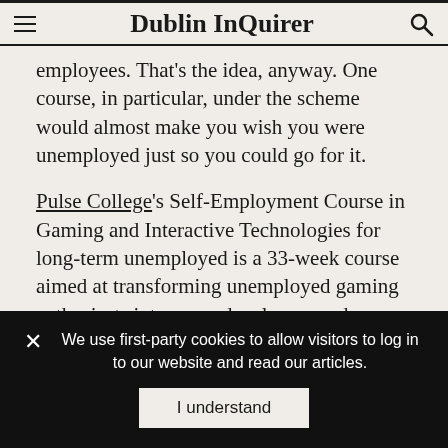Dublin InQuirer
employees. That's the idea, anyway. One course, in particular, under the scheme would almost make you wish you were unemployed just so you could go for it.
Pulse College's Self-Employment Course in Gaming and Interactive Technologies for long-term unemployed is a 33-week course aimed at transforming unemployed gaming enthusiasts into game developers and entrepreneurs.
The participants will learn the skills to not only make their own video games but also to build their own gaming business, from an original concept into a real venture.
We use first-party cookies to allow visitors to log in to our website and read our articles.
I understand